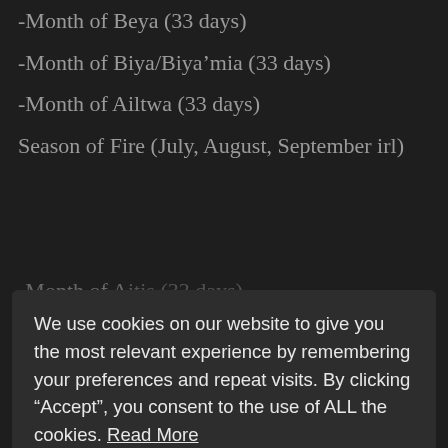-Month of Beya (33 days)
-Month of Biya/Biya’mia (33 days)
-Month of Ailtwa (33 days)
Season of Fire (July, August, September irl)
-Month of A... (33 days) [partially hidden]
We use cookies on our website to give you the most relevant experience by remembering your preferences and repeat visits. By clicking “Accept”, you consent to the use of ALL the cookies. Read More
ACCEPT
-Month of Zubo (33 days)
Each month is broken down in the following way.
1st – Day of Va Risini Suna – This day stands apart